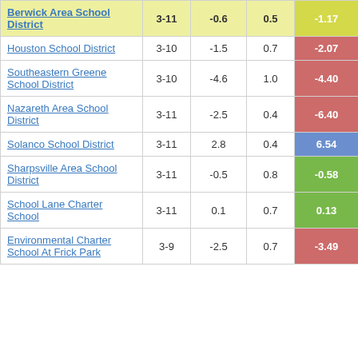| School District | Grades | Col3 | Col4 | Score |
| --- | --- | --- | --- | --- |
| Berwick Area School District | 3-11 | -0.6 | 0.5 | -1.17 |
| Houston School District | 3-10 | -1.5 | 0.7 | -2.07 |
| Southeastern Greene School District | 3-10 | -4.6 | 1.0 | -4.40 |
| Nazareth Area School District | 3-11 | -2.5 | 0.4 | -6.40 |
| Solanco School District | 3-11 | 2.8 | 0.4 | 6.54 |
| Sharpsville Area School District | 3-11 | -0.5 | 0.8 | -0.58 |
| School Lane Charter School | 3-11 | 0.1 | 0.7 | 0.13 |
| Environmental Charter School At Frick Park | 3-9 | -2.5 | 0.7 | -3.49 |